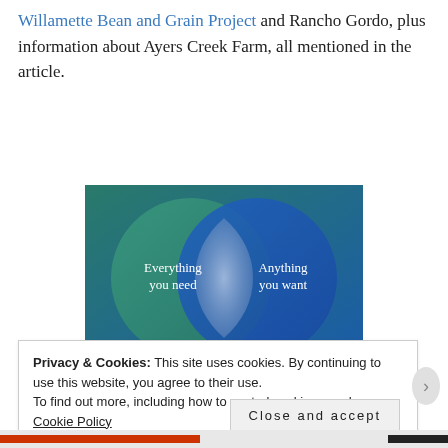Willamette Bean and Grain Project and Rancho Gordo, plus information about Ayers Creek Farm, all mentioned in the article.
[Figure (infographic): Venn diagram with two overlapping circles on a dark teal/blue gradient background. Left circle (green-teal) labeled 'Everything you need', right circle (blue) labeled 'Anything you want'. The overlapping lens-shaped region is lighter blue-grey.]
Privacy & Cookies: This site uses cookies. By continuing to use this website, you agree to their use.
To find out more, including how to control cookies, see here: Cookie Policy
Close and accept